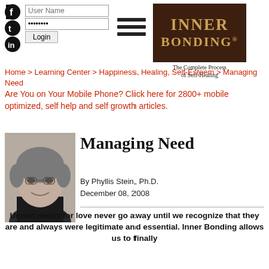[Figure (logo): Social media icons: Facebook, Twitter, LinkedIn]
[Figure (screenshot): Login form with User Name and Password fields and Login button]
[Figure (logo): Hamburger menu icon (three horizontal bars)]
[Figure (logo): Inner Bonding logo - dark brown background with gold text, subtitle: The Complete Process of Self-Healing]
Home > Learning Center > Happiness, Healing, Self-Esteem > Managing Need
Are You on Your Mobile Phone? Click here for 2800+ mobile optimized, self help and self growth articles.
[Figure (photo): Author photo of Phyllis Stein, Ph.D. - older woman with short grey hair, smiling]
Managing Need
By Phyllis Stein, Ph.D.
December 08, 2008
Unmet needs for love never go away until we recognize that they are and always were legitimate and essential. Inner Bonding allows us to finally